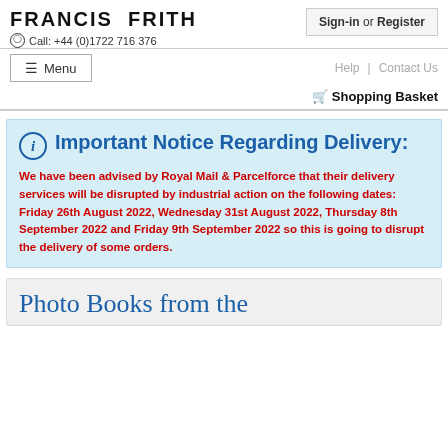FRANCIS FRITH
Call: +44 (0)1722 716 376
Sign-in or Register
Help | Contact Us
Menu
Shopping Basket
Important Notice Regarding Delivery:
We have been advised by Royal Mail & Parcelforce that their delivery services will be disrupted by industrial action on the following dates: Friday 26th August 2022, Wednesday 31st August 2022, Thursday 8th September 2022 and Friday 9th September 2022 so this is going to disrupt the delivery of some orders.
Photo Books from the